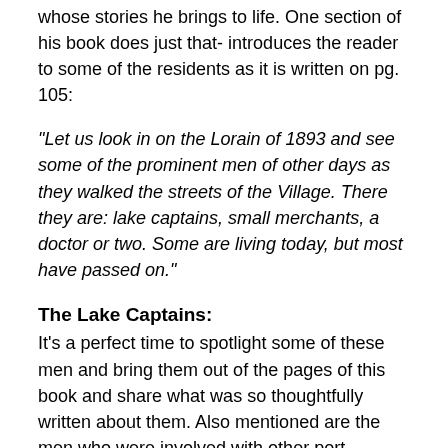whose stories he brings to life. One section of his book does just that- introduces the reader to some of the residents as it is written on pg. 105:
“Let us look in on the Lorain of 1893 and see some of the prominent men of other days as they walked the streets of the Village. There they are: lake captains, small merchants, a doctor or two. Some are living today, but most have passed on.”
The Lake Captains:
It’s a perfect time to spotlight some of these men and bring them out of the pages of this book and share what was so thoughtfully written about them. Also mentioned are the men who were involved with other port activities such as shipbuilding. There are many and each of their life stories could make for separate articles, but this article will